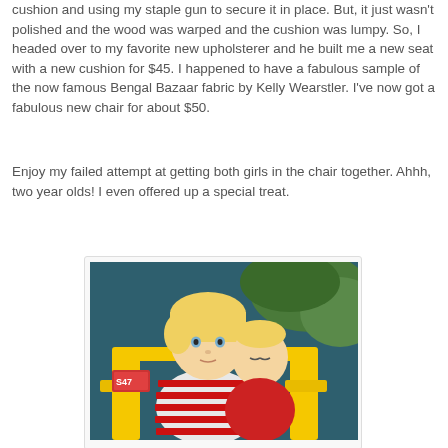cushion and using my staple gun to secure it in place. But, it just wasn't polished and the wood was warped and the cushion was lumpy. So, I headed over to my favorite new upholsterer and he built me a new seat with a new cushion for $45. I happened to have a fabulous sample of the now famous Bengal Bazaar fabric by Kelly Wearstler. I've now got a fabulous new chair for about $50.
Enjoy my failed attempt at getting both girls in the chair together. Ahhh, two year olds! I even offered up a special treat.
[Figure (photo): Two young blonde girls sitting in a yellow chair outdoors. The older girl in front wears a red and white striped dress, and the younger infant behind her wears a red outfit. Background shows a teal/dark surface and greenery.]